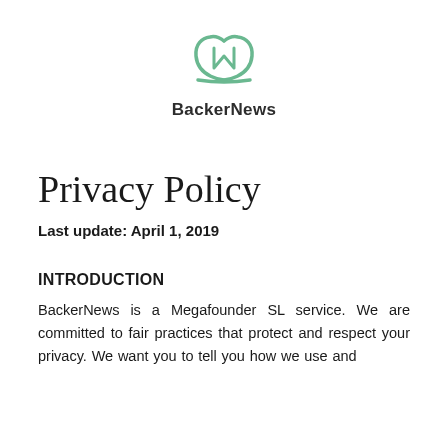[Figure (logo): BackerNews logo: green outlined open book icon with stylized N shape inside]
BackerNews
Privacy Policy
Last update: April 1, 2019
INTRODUCTION
BackerNews is a Megafounder SL service. We are committed to fair practices that protect and respect your privacy. We want you to tell you how we use and